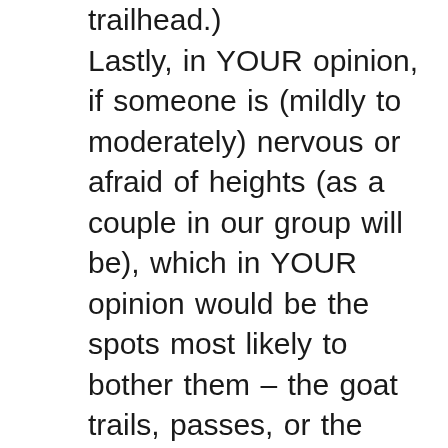trailhead.) Lastly, in YOUR opinion, if someone is (mildly to moderately) nervous or afraid of heights (as a couple in our group will be), which in YOUR opinion would be the spots most likely to bother them – the goat trails, passes, or the kinda scary looking narrow ledges?? (On Pitamakin/Dawson hike). In the videos it would look like the narrow ledges could be the scariest, but sometimes it's difficult to get a true perspective from a video. (for example, on videos of the early part of Highline Trail, the ledges (above the road) look pretty